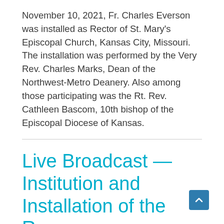November 10, 2021, Fr. Charles Everson was installed as Rector of St. Mary's Episcopal Church, Kansas City, Missouri. The installation was performed by the Very Rev. Charles Marks, Dean of the Northwest-Metro Deanery. Also among those participating was the Rt. Rev. Cathleen Bascom, 10th bishop of the Episcopal Diocese of Kansas.
Live Broadcast — Institution and Installation of the Rev. Charles Everson as